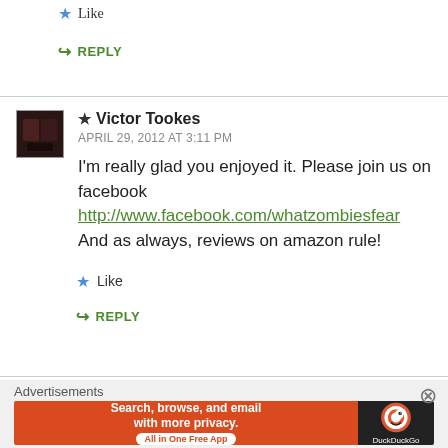★ Like
↪ REPLY
★ Victor Tookes
APRIL 29, 2012 AT 3:11 PM
I'm really glad you enjoyed it. Please join us on facebook http://www.facebook.com/whatzombiesfear And as always, reviews on amazon rule!
★ Like
↪ REPLY
[Figure (screenshot): DuckDuckGo advertisement banner: 'Search, browse, and email with more privacy. All in One Free App' with DuckDuckGo logo on dark background]